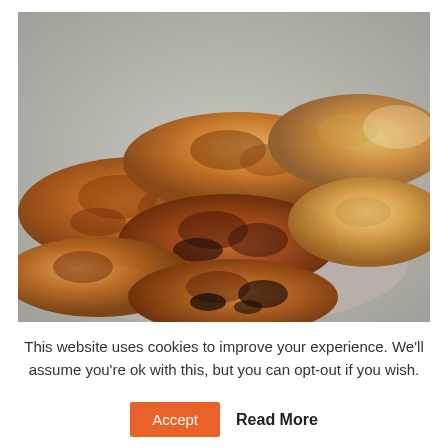[Figure (photo): A plate of golden-brown pan-fried pancakes or potato cakes, stacked and overlapping, with dark caramelized spots on a white plate.]
This website uses cookies to improve your experience. We'll assume you're ok with this, but you can opt-out if you wish.
Accept   Read More